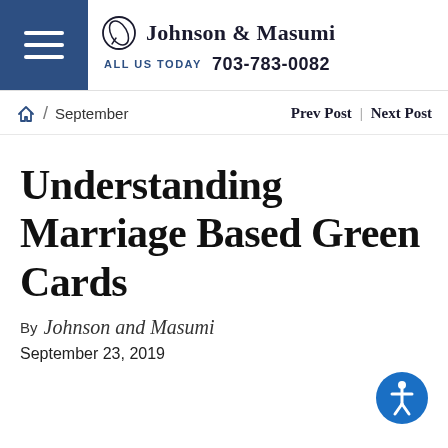Johnson & Masumi | CALL US TODAY 703-783-0082
Home / September   Prev Post | Next Post
Understanding Marriage Based Green Cards
By Johnson and Masumi
September 23, 2019